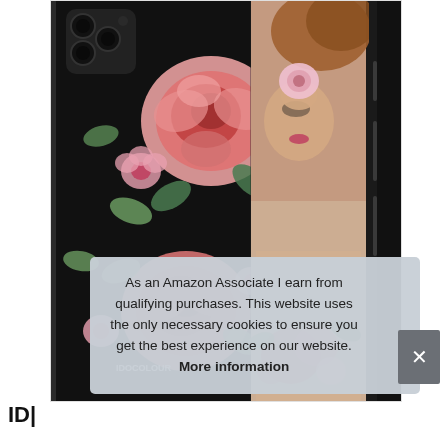[Figure (photo): Product photo of a black floral phone case for iPhone 11 Pro Max, showing pink and red roses on a dark background on the left half and a woman holding a flower over her eye on the right half of the case display.]
As an Amazon Associate I earn from qualifying purchases. This website uses the only necessary cookies to ensure you get the best experience on our website. More information
ID